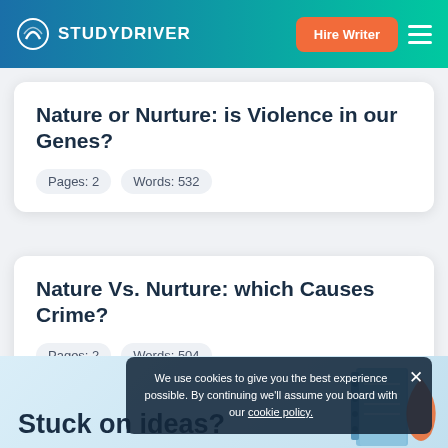STUDYDRIVER
Nature or Nurture: is Violence in our Genes?
Pages: 2   Words: 532
Nature Vs. Nurture: which Causes Crime?
Pages: 2   Words: 504
Stuck on ideas?
We use cookies to give you the best experience possible. By continuing we'll assume you board with our cookie policy.